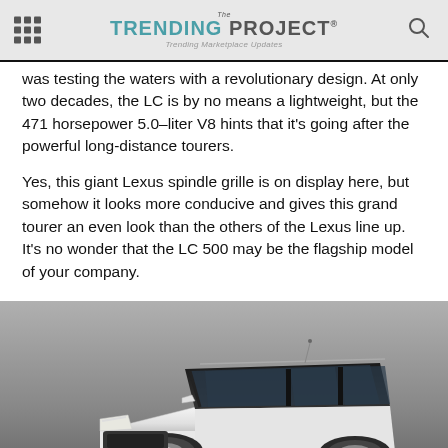The Trending Project — Trending Marketplace Updates
was testing the waters with a revolutionary design. At only two decades, the LC is by no means a lightweight, but the 471 horsepower 5.0-liter V8 hints that it's going after the powerful long-distance tourers.
Yes, this giant Lexus spindle grille is on display here, but somehow it looks more conducive and gives this grand tourer an even look than the others of the Lexus line up. It's no wonder that the LC 500 may be the flagship model of your company.
[Figure (photo): White Lexus SUV photographed from front-left angle against a grey studio background, showing the hood, windshield, roof, and side windows.]